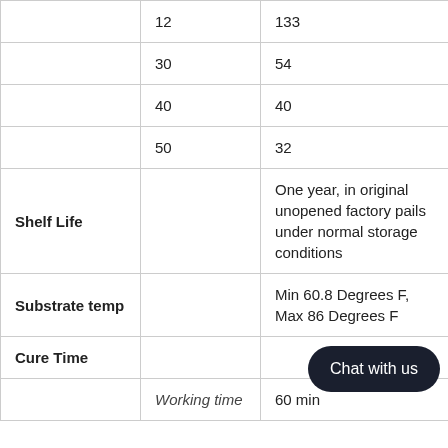|  | 12 | 133 |
|  | 30 | 54 |
|  | 40 | 40 |
|  | 50 | 32 |
| Shelf Life |  | One year, in original unopened factory pails under normal storage conditions |
| Substrate temp |  | Min 60.8 Degrees F, Max 86 Degrees F |
| Cure Time |  |  |
|  | Working time | 60 min |